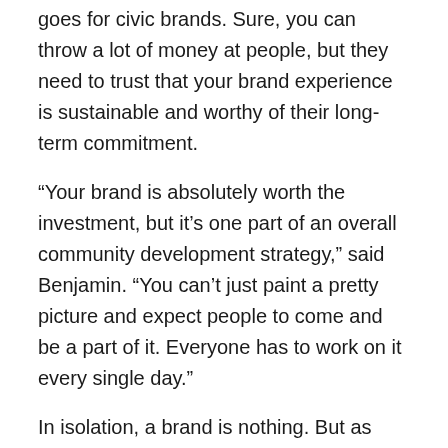goes for civic brands. Sure, you can throw a lot of money at people, but they need to trust that your brand experience is sustainable and worthy of their long-term commitment.
“Your brand is absolutely worth the investment, but it’s one part of an overall community development strategy,” said Benjamin. “You can’t just paint a pretty picture and expect people to come and be a part of it. Everyone has to work on it every single day.”
In isolation, a brand is nothing. But as part of a plan and commitment to drive a community forward, it is a powerful tool.